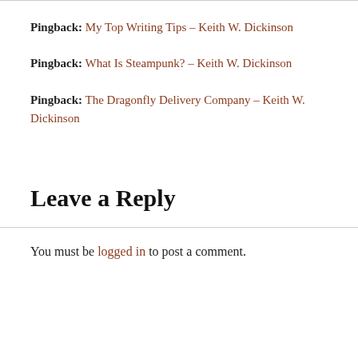Pingback: My Top Writing Tips – Keith W. Dickinson
Pingback: What Is Steampunk? – Keith W. Dickinson
Pingback: The Dragonfly Delivery Company – Keith W. Dickinson
Leave a Reply
You must be logged in to post a comment.